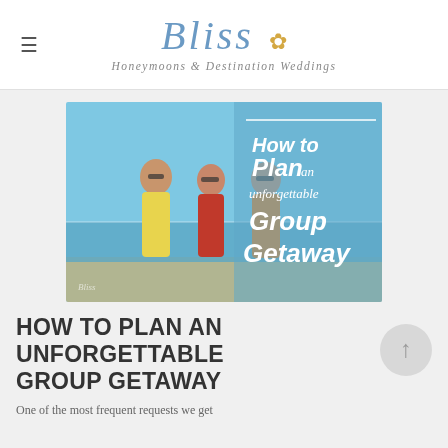Bliss — Honeymoons & Destination Weddings
[Figure (illustration): Banner image showing three women in bikinis walking on a beach with overlay text reading 'How to Plan an unforgettable Group Getaway' and Bliss watermark]
HOW TO PLAN AN UNFORGETTABLE GROUP GETAWAY
One of the most frequent requests we get